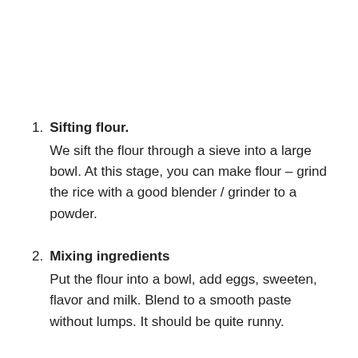1. Sifting flour. We sift the flour through a sieve into a large bowl. At this stage, you can make flour – grind the rice with a good blender / grinder to a powder.
2. Mixing ingredients Put the flour into a bowl, add eggs, sweeten, flavor and milk. Blend to a smooth paste without lumps. It should be quite runny.